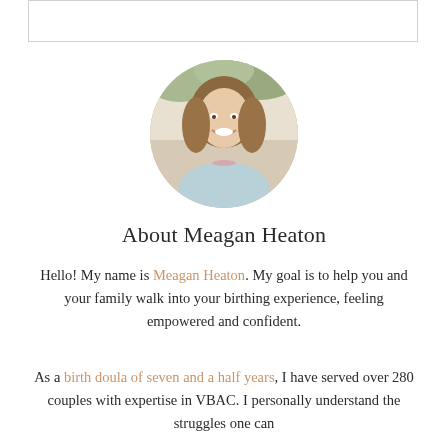[Figure (photo): Circular profile photo of Meagan Heaton, a smiling woman with light brown hair, outdoors with a blurred background]
About Meagan Heaton
Hello! My name is Meagan Heaton. My goal is to help you and your family walk into your birthing experience, feeling empowered and confident.
As a birth doula of seven and a half years, I have served over 280 couples with expertise in VBAC. I personally understand the struggles one can face...